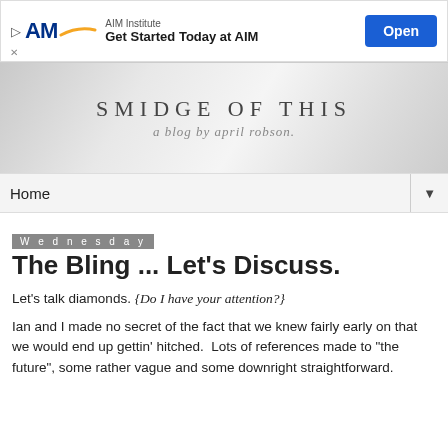[Figure (screenshot): AIM Institute advertisement banner with logo, 'Get Started Today at AIM' text, and blue Open button]
[Figure (photo): Blog header banner with marble/grey texture background showing 'SMIDGE OF THIS' site title and 'a blog by april robson' subtitle]
Home ▼
Wednesday
The Bling ... Let's Discuss.
Let's talk diamonds. {Do I have your attention?}
Ian and I made no secret of the fact that we knew fairly early on that we would end up gettin' hitched.  Lots of references made to "the future", some rather vague and some downright straightforward.